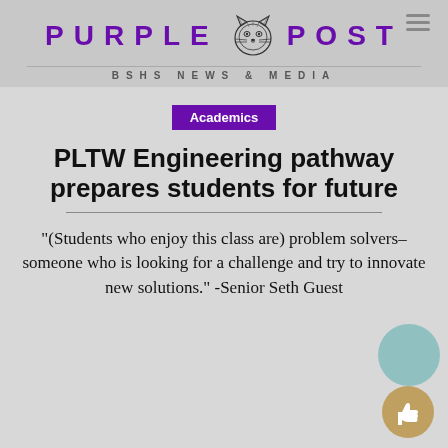PURPLE POST — BSHS NEWS & MEDIA
Academics
PLTW Engineering pathway prepares students for future
“(Students who enjoy this class are) problem solvers–someone who is looking for a challenge and try to innovate new solutions.” -Senior Seth Guest